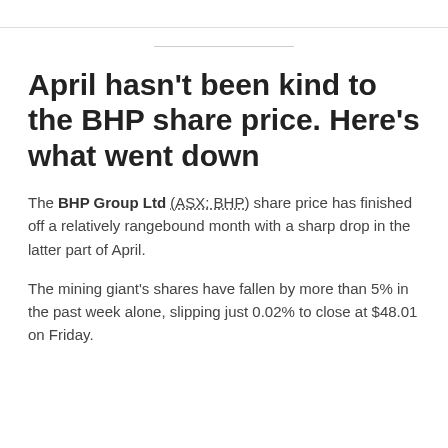April hasn't been kind to the BHP share price. Here's what went down
The BHP Group Ltd (ASX: BHP) share price has finished off a relatively rangebound month with a sharp drop in the latter part of April.
The mining giant's shares have fallen by more than 5% in the past week alone, slipping just 0.02% to close at $48.01 on Friday.